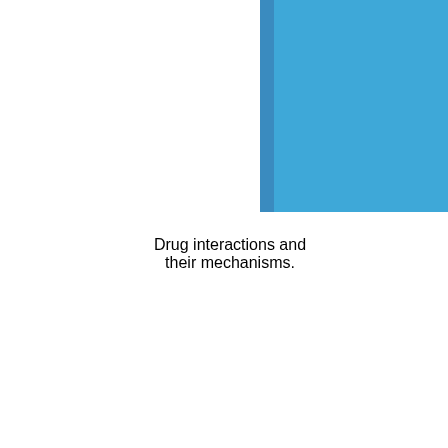[Figure (illustration): Top portion of a blue book with a darker blue spine on the left side, cover color is medium sky blue]
Drug interactions and their mechanisms.
[Figure (illustration): Bottom portion of a second blue book with a darker blue spine on the left side, cover color is medium sky blue, partially cut off at the bottom of the page]